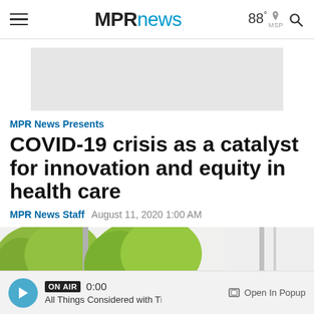MPRnews  88° MSP
[Figure (other): Advertisement banner placeholder (gray rectangle)]
MPR News Presents
COVID-19 crisis as a catalyst for innovation and equity in health care
MPR News Staff  August 11, 2020 1:00 AM
[Figure (photo): Outdoor photo showing yellow-green trees and gray metal poles against a light background]
ON AIR  0:00  All Things Considered with T  Open In Popup